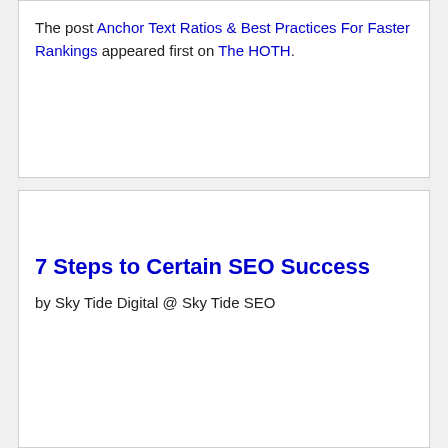The post Anchor Text Ratios & Best Practices For Faster Rankings appeared first on The HOTH.
7 Steps to Certain SEO Success
by Sky Tide Digital @ Sky Tide SEO